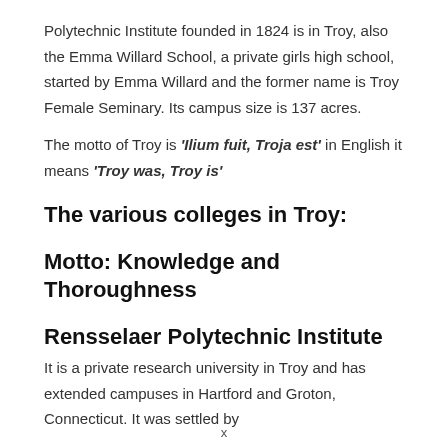Polytechnic Institute founded in 1824 is in Troy, also the Emma Willard School, a private girls high school, started by Emma Willard and the former name is Troy Female Seminary. Its campus size is 137 acres.
The motto of Troy is 'Ilium fuit, Troja est' in English it means 'Troy was, Troy is'
The various colleges in Troy:
Motto: Knowledge and Thoroughness
Rensselaer Polytechnic Institute
It is a private research university in Troy and has extended campuses in Hartford and Groton, Connecticut. It was settled by
x